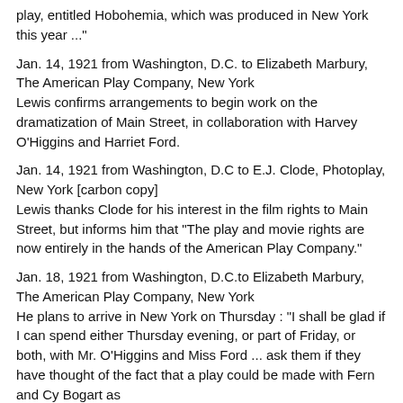play, entitled Hobohemia, which was produced in New York this year ..."
Jan. 14, 1921 from Washington, D.C. to Elizabeth Marbury, The American Play Company, New York
Lewis confirms arrangements to begin work on the dramatization of Main Street, in collaboration with Harvey O’Higgins and Harriet Ford.
Jan. 14, 1921 from Washington, D.C to E.J. Clode, Photoplay, New York [carbon copy]
Lewis thanks Clode for his interest in the film rights to Main Street, but informs him that “The play and movie rights are now entirely in the hands of the American Play Company.”
Jan. 18, 1921 from Washington, D.C.to Elizabeth Marbury, The American Play Company, New York
He plans to arrive in New York on Thursday : “I shall be glad if I can spend either Thursday evening, or part of Friday, or both, with Mr. O’Higgins and Miss Ford ... ask them if they have thought of the fact that a play could be made with Fern and Cy Bogart as